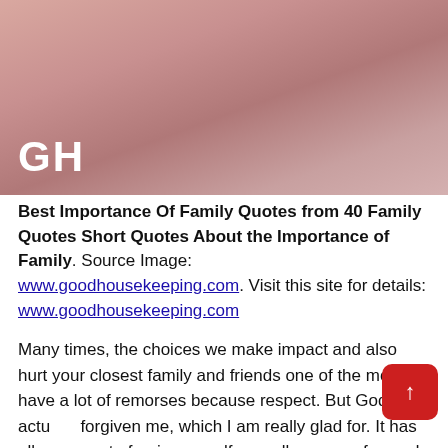[Figure (photo): Blurred pinkish-rose background image with 'GH' logo text in white at bottom left]
Best Importance Of Family Quotes from 40 Family Quotes Short Quotes About the Importance of Family. Source Image: www.goodhousekeeping.com. Visit this site for details: www.goodhousekeeping.com
Many times, the choices we make impact and also hurt your closest family and friends one of the most. I have a lot of remorses because respect. But God has actually forgiven me, which I am really glad for. It has allowed me to forgive myself as well as move forward someday